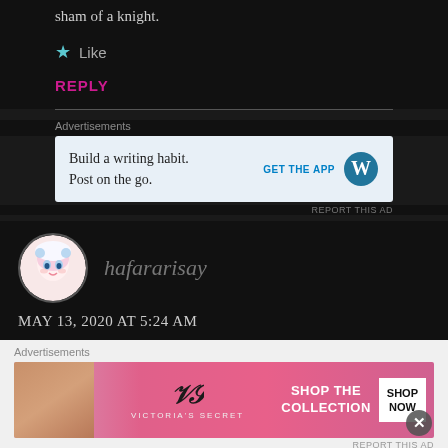sham of a knight.
★ Like
REPLY
Advertisements
[Figure (screenshot): WordPress advertisement: 'Build a writing habit. Post on the go.' with GET THE APP button and WordPress logo]
REPORT THIS AD
hafararisay
MAY 13, 2020 AT 5:24 AM
Advertisements
[Figure (screenshot): Victoria's Secret advertisement: SHOP THE COLLECTION with SHOP NOW button]